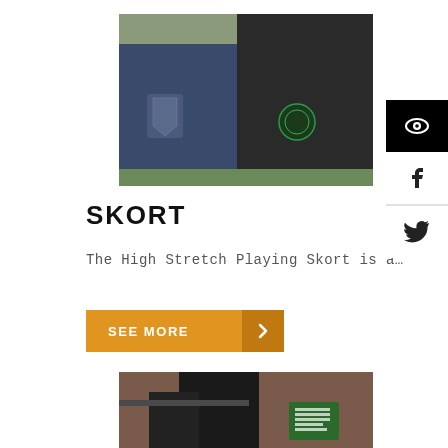[Figure (photo): Two people wearing sports skorts showing team badges/crests on the garments, photographed outdoors on grass]
SKORT
The High Stretch Playing Skort is a…
[Figure (other): SEE MORE button with orange background and right arrow]
[Figure (photo): Person wearing dark sports trousers/pants near a railing, partial view, brick wall and green sign in background]